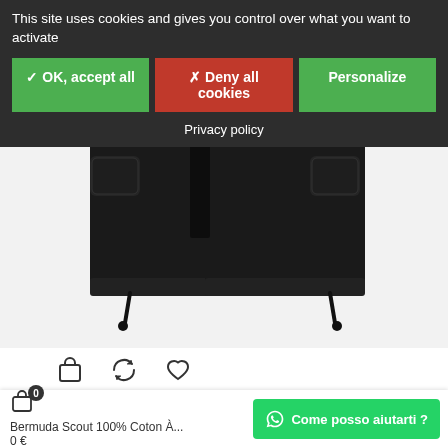This site uses cookies and gives you control over what you want to activate
✓ OK, accept all
✗ Deny all cookies
Personalize
Privacy policy
[Figure (photo): Black cargo shorts with drawstring hems and side pockets, shown on white background]
[Figure (infographic): Row of icons: shopping bag, refresh/return, and heart/wishlist]
Bermuda Scout 100% Coton À...
0 €
Come posso aiutarti ?